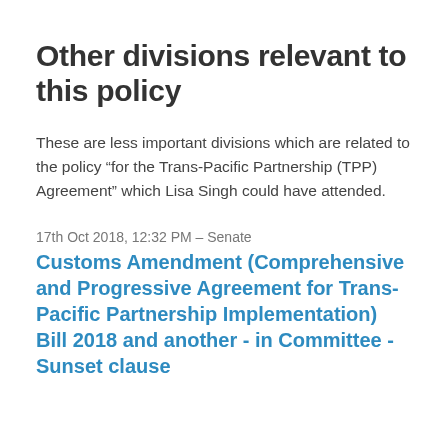Other divisions relevant to this policy
These are less important divisions which are related to the policy “for the Trans-Pacific Partnership (TPP) Agreement” which Lisa Singh could have attended.
17th Oct 2018, 12:32 PM – Senate
Customs Amendment (Comprehensive and Progressive Agreement for Trans-Pacific Partnership Implementation) Bill 2018 and another - in Committee - Sunset clause